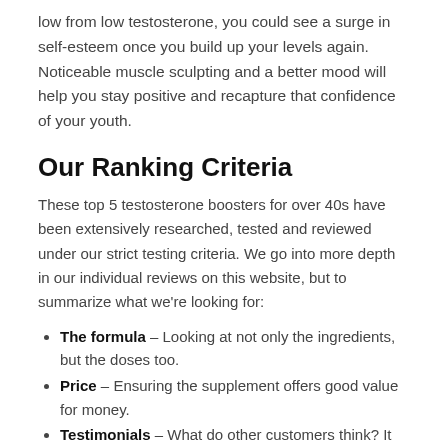low from low testosterone, you could see a surge in self-esteem once you build up your levels again. Noticeable muscle sculpting and a better mood will help you stay positive and recapture that confidence of your youth.
Our Ranking Criteria
These top 5 testosterone boosters for over 40s have been extensively researched, tested and reviewed under our strict testing criteria. We go into more depth in our individual reviews on this website, but to summarize what we're looking for:
The formula – Looking at not only the ingredients, but the doses too.
Price – Ensuring the supplement offers good value for money.
Testimonials – What do other customers think? It needs to have positive feedback from users.
Trust – We want to be sure these products are completely